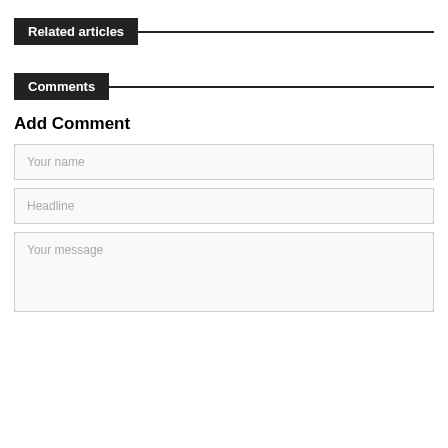Related articles
Comments
Add Comment
Your name
Headline
Your message